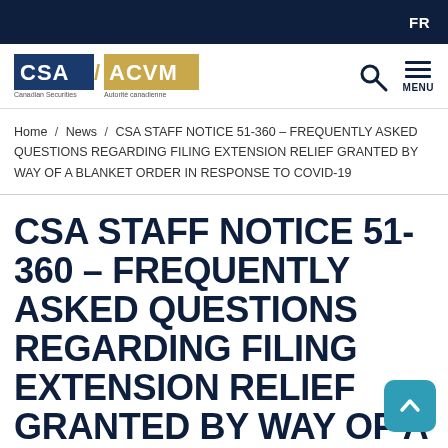FR
[Figure (logo): CSA / ACVM logo — Canadian Securities Administrators / Autorité canadienne en valeurs mobilières, with search and menu icons]
Home / News / CSA STAFF NOTICE 51-360 – FREQUENTLY ASKED QUESTIONS REGARDING FILING EXTENSION RELIEF GRANTED BY WAY OF A BLANKET ORDER IN RESPONSE TO COVID-19
CSA STAFF NOTICE 51-360 – FREQUENTLY ASKED QUESTIONS REGARDING FILING EXTENSION RELIEF GRANTED BY WAY OF A BLANKET ORDER IN